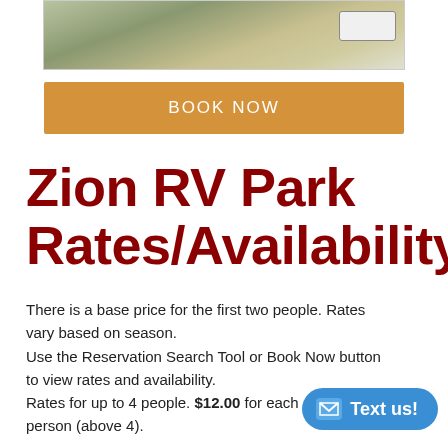[Figure (photo): Aerial photo of an RV park showing gravel sites and a white RV parked in the upper right area, with desert scrub vegetation]
BOOK NOW
Zion RV Park Rates/Availability:
There is a base price for the first two people. Rates vary based on season.
Use the Reservation Search Tool or Book Now button to view rates and availability.
Rates for up to 4 people. $12.00 for each additional person (above 4).